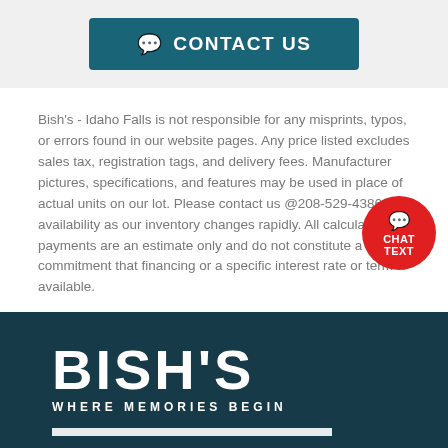[Figure (other): Contact Us button with speech bubble icon on teal/dark teal background]
Bish's - Idaho Falls is not responsible for any misprints, typos, or errors found in our website pages. Any price listed excludes sales tax, registration tags, and delivery fees. Manufacturer pictures, specifications, and features may be used in place of actual units on our lot. Please contact us @208-529-4386 for availability as our inventory changes rapidly. All calculated payments are an estimate only and do not constitute a commitment that financing or a specific interest rate or term is available.
[Figure (other): Red circular chat button with speech bubble icon and CHAT TEXT label]
[Figure (logo): Bish's logo with tagline WHERE MEMORIES BEGIN on dark teal background]